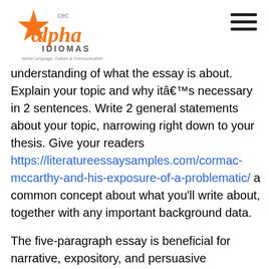Alpha Idiomas - CEC logo and hamburger menu
understanding of what the essay is about. Explain your topic and why itâs necessary in 2 sentences. Write 2 general statements about your topic, narrowing right down to your thesis. Give your readers https://literatureessaysamples.com/cormac-mccarthy-and-his-exposure-of-a-problematic/ a common concept about what you'll write about, together with any important background data.
The five-paragraph essay is beneficial for narrative, expository, and persuasive communication. In a narrative essay, the primary thought summarizes the https://literatureessaysamples.com/the-influence-of-english-renaissance-on-william-shakespeare/ story and every body paragraph corresponds to a